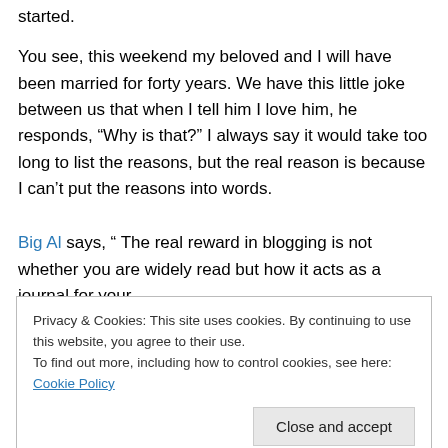started.
You see, this weekend my beloved and I will have been married for forty years. We have this little joke between us that when I tell him I love him, he responds, “Why is that?” I always say it would take too long to list the reasons, but the real reason is because I can’t put the reasons into words.
Big Al says, “ The real reward in blogging is not whether you are widely read but how it acts as a journal for your
Privacy & Cookies: This site uses cookies. By continuing to use this website, you agree to their use.
To find out more, including how to control cookies, see here: Cookie Policy
Close and accept
Whe...